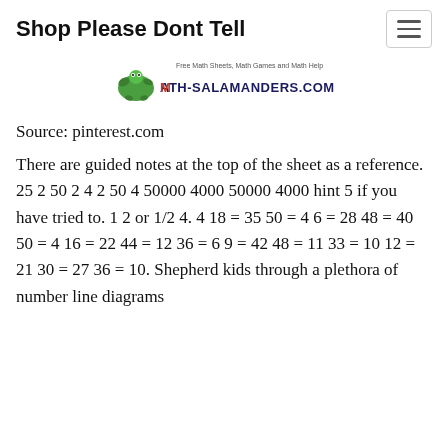Shop Please Dont Tell
[Figure (logo): Math-Salamanders.com logo with salamander mascot and tagline 'Free Math Sheets, Math Games and Math Help']
Source: pinterest.com
There are guided notes at the top of the sheet as a reference. 25 2 50 2 4 2 50 4 50000 4000 50000 4000 hint 5 if you have tried to. 1 2 or 1/2 4. 4 18 = 35 50 = 4 6 = 28 48 = 40 50 = 4 16 = 22 44 = 12 36 = 6 9 = 42 48 = 11 33 = 10 12 = 21 30 = 27 36 = 10. Shepherd kids through a plethora of number line diagrams